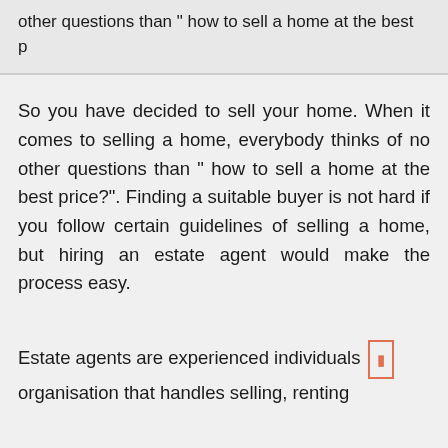other questions than " how to sell a home at the best p
So you have decided to sell your home. When it comes to selling a home, everybody thinks of no other questions than " how to sell a home at the best price?". Finding a suitable buyer is not hard if you follow certain guidelines of selling a home, but hiring an estate agent would make the process easy.
Estate agents are experienced individuals organisation that handles selling, renting